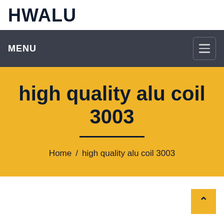HWALU
MENU
high quality alu coil 3003
Home / high quality alu coil 3003